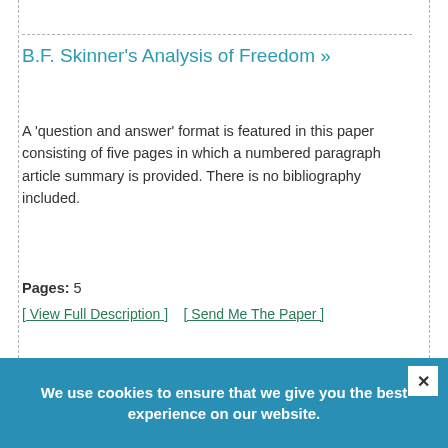B.F. Skinner's Analysis of Freedom »
A 'question and answer' format is featured in this paper consisting of five pages in which a numbered paragraph article summary is provided. There is no bibliography included.
Pages: 5
[ View Full Description ]    [ Send Me The Paper ]
We use cookies to ensure that we give you the best experience on our website.